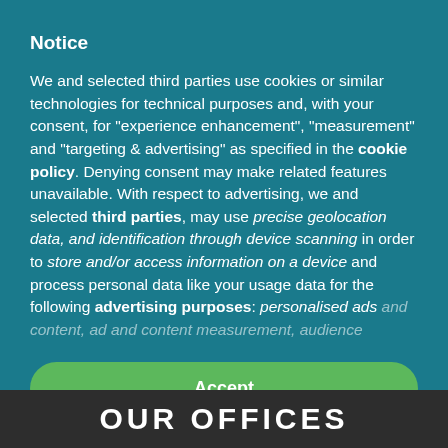Notice
We and selected third parties use cookies or similar technologies for technical purposes and, with your consent, for “experience enhancement”, “measurement” and “targeting & advertising” as specified in the cookie policy. Denying consent may make related features unavailable. With respect to advertising, we and selected third parties, may use precise geolocation data, and identification through device scanning in order to store and/or access information on a device and process personal data like your usage data for the following advertising purposes: personalised ads and content, ad and content measurement, audience
Accept
Learn more and customise
OUR OFFICES